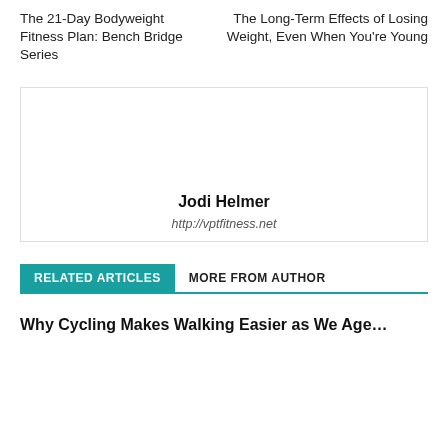The 21-Day Bodyweight Fitness Plan: Bench Bridge Series
The Long-Term Effects of Losing Weight, Even When You're Young
[Figure (other): Author bio box with name Jodi Helmer and website http://vptfitness.net]
RELATED ARTICLES
MORE FROM AUTHOR
Why Cycling Makes Walking Easier as We Age